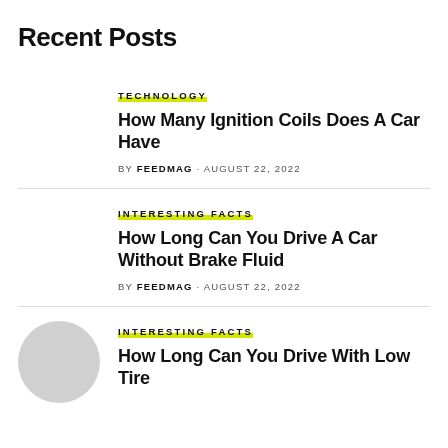Recent Posts
TECHNOLOGY
How Many Ignition Coils Does A Car Have
BY FEEDMAG · AUGUST 22, 2022
INTERESTING FACTS
How Long Can You Drive A Car Without Brake Fluid
BY FEEDMAG · AUGUST 22, 2022
INTERESTING FACTS
How Long Can You Drive With Low Tire